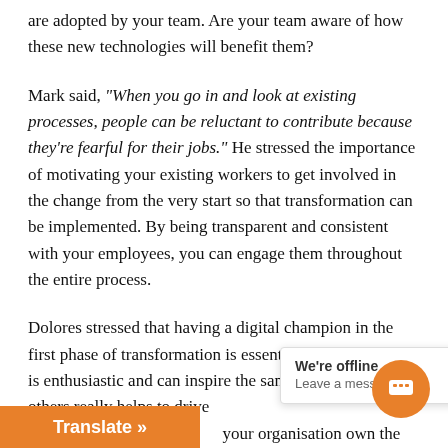are adopted by your team. Are your team aware of how these new technologies will benefit them?
Mark said, "When you go in and look at existing processes, people can be reluctant to contribute because they're fearful for their jobs." He stressed the importance of motivating your existing workers to get involved in the change from the very start so that transformation can be implemented. By being transparent and consistent with your employees, you can engage them throughout the entire process.
Dolores stressed that having a digital champion in the first phase of transformation is essential. Someone who is enthusiastic and can inspire the same excitement in others really helps to drive a[n] ... your organisation own the t[echnology] ... t[o] re[alize] ... t[echnology that is in the co]ntrol of the people